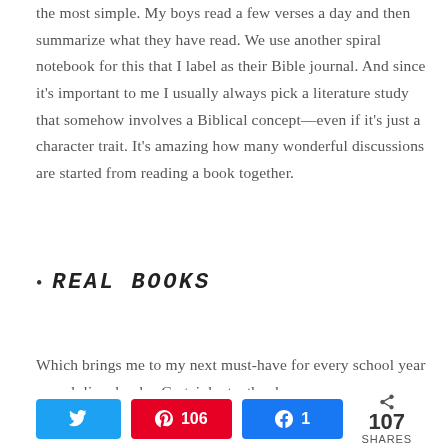the most simple. My boys read a few verses a day and then summarize what they have read. We use another spiral notebook for this that I label as their Bible journal. And since it's important to me I usually always pick a literature study that somehow involves a Biblical concept—even if it's just a character trait. It's amazing how many wonderful discussions are started from reading a book together.
REAL BOOKS
Which brings me to my next must-have for every school year—real, live, books. Certainly, textbooks
Twitter | Pin 106 | Share 1 | 107 SHARES